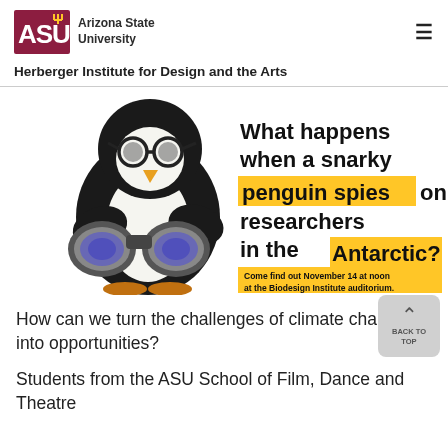ASU Arizona State University — Herberger Institute for Design and the Arts
[Figure (illustration): Promotional banner showing a cartoon penguin with binoculars and text: 'What happens when a snarky penguin spies on researchers in the Antarctic? Come find out November 14 at noon at the Biodesign Institute auditorium.']
How can we turn the challenges of climate change into opportunities?
Students from the ASU School of Film, Dance and Theatre